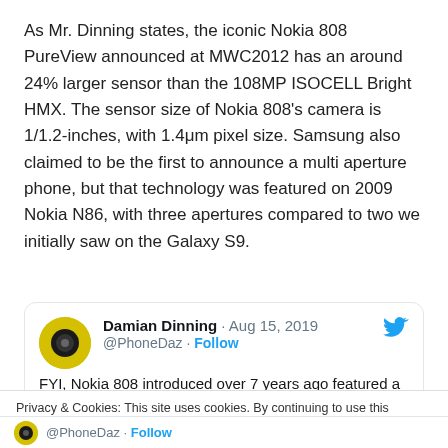As Mr. Dinning states, the iconic Nokia 808 PureView announced at MWC2012 has an around 24% larger sensor than the 108MP ISOCELL Bright HMX. The sensor size of Nokia 808's camera is 1/1.2-inches, with 1.4μm pixel size. Samsung also claimed to be the first to announce a multi aperture phone, but that technology was featured on 2009 Nokia N86, with three apertures compared to two we initially saw on the Galaxy S9.
[Figure (screenshot): Embedded tweet from Damian Dinning (@PhoneDaz) dated Aug 15, 2019 with Twitter bird icon. Tweet text begins: FYI, Nokia 808 introduced over 7 years ago featured a sensor ~24% larger than Samsung's...]
Privacy & Cookies: This site uses cookies. By continuing to use this website, you agree to their use. To find out more, including how to control cookies, see here: Cookie Policy
@PhoneDaz · Follow